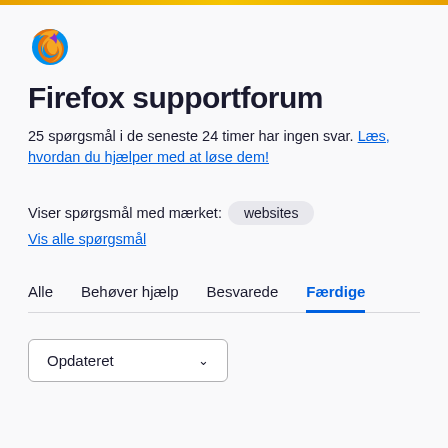[Figure (logo): Firefox logo - flame surrounding a globe in orange/purple/red colors]
Firefox supportforum
25 spørgsmål i de seneste 24 timer har ingen svar. Læs, hvordan du hjælper med at løse dem!
Viser spørgsmål med mærket: websites  Vis alle spørgsmål
Alle  Behøver hjælp  Besvarede  Færdige
Opdateret